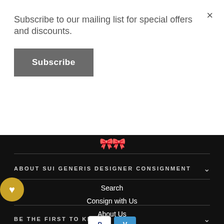Subscribe to our mailing list for special offers and discounts.
×
Subscribe
[Figure (illustration): Two gold bow/ribbon decorative icons for Sui Generis logo]
ABOUT SUI GENERIS DESIGNER CONSIGNMENT
Search
Consign with Us
About Us
Contact Us
BE THE FIRST TO KNOW
[Figure (logo): PayPal and Venmo payment method icons]